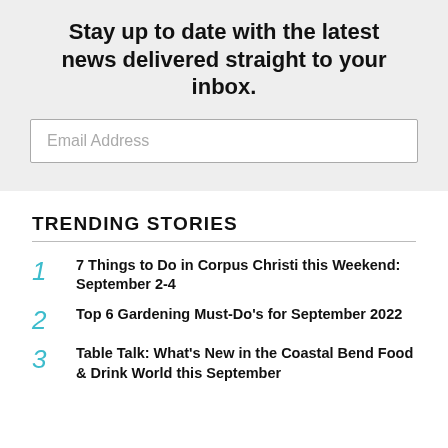Stay up to date with the latest news delivered straight to your inbox.
Email Address
TRENDING STORIES
1 7 Things to Do in Corpus Christi this Weekend: September 2-4
2 Top 6 Gardening Must-Do's for September 2022
3 Table Talk: What's New in the Coastal Bend Food & Drink World this September